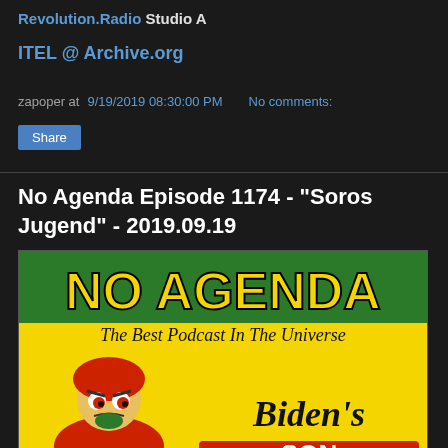Revolution.Radio Studio A
ITEL @ Archive.org
zapoper at 9/19/2019 08:30:00 PM   No comments:
Share
No Agenda Episode 1174 - "Soros Jugend" - 2019.09.19
[Figure (illustration): No Agenda podcast cover art showing cartoon character on yellow background with text 'NO AGENDA The Best Podcast In The Universe' and partially visible text 'Biden's']